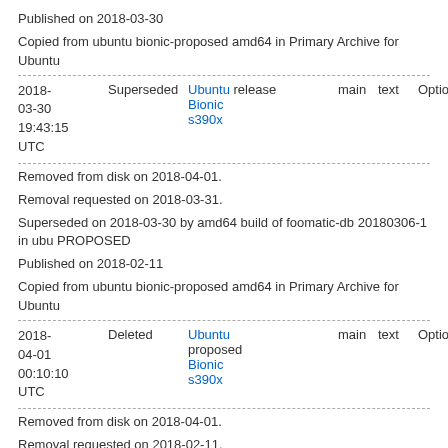Published on 2018-03-30
Copied from ubuntu bionic-proposed amd64 in Primary Archive for Ubuntu
| Date | Status | Distro | Pocket | Component | Section | Priority |
| --- | --- | --- | --- | --- | --- | --- |
| 2018-03-30 19:43:15 UTC | Superseded | Ubuntu Bionic s390x | release | main | text | Optional |
Removed from disk on 2018-04-01.
Removal requested on 2018-03-31.
Superseded on 2018-03-30 by amd64 build of foomatic-db 20180306-1 in ubuntu PROPOSED
Published on 2018-02-11
Copied from ubuntu bionic-proposed amd64 in Primary Archive for Ubuntu
| Date | Status | Distro | Pocket | Component | Section | Priority |
| --- | --- | --- | --- | --- | --- | --- |
| 2018-04-01 00:10:10 UTC | Deleted | Ubuntu Bionic s390x | proposed | main | text | Optional |
Removed from disk on 2018-04-01.
Removal requested on 2018-02-11.
Deleted on 2018-02-11 by Ubuntu Archive Robot moved to release
Published on 2018-02-10